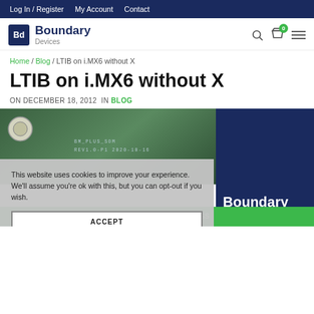Log In / Register   My Account   Contact
[Figure (logo): Boundary Devices logo with Bd icon and cart/search/menu icons]
Home / Blog / LTIB on i.MX6 without X
LTIB on i.MX6 without X
ON DECEMBER 18, 2012  IN BLOG
[Figure (photo): PCB circuit board photo overlapping with Boundary Devices branding on dark blue background]
This website uses cookies to improve your experience. We'll assume you're ok with this, but you can opt-out if you wish.
ACCEPT
e website is inaccurate.  DISMISS